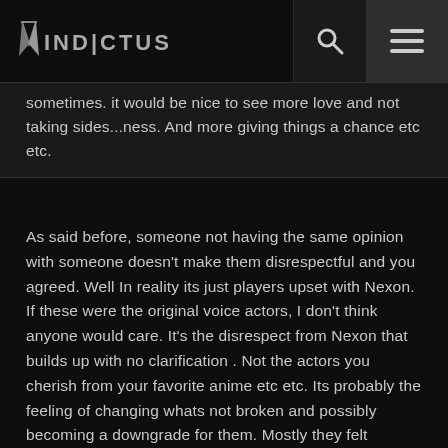VINDICTUS [logo with search and menu icons]
sometimes. it would be nice to see more love and not taking sides...ness. And more giving things a chance etc etc.
As said before, someone not having the same opinion with someone doesn't make them disrespectful and you agreed. Well In reality its just players upset with Nexon. If these were the original voice actors, I don't think anyone would care. It's the disrespect from Nexon that builds up with no clarification . Not the actors you cherish from your favorite anime etc etc. Its probably the feeling of changing whats not broken and possibly becoming a downgrade for them. Mostly they felt ignored. Which is normal for Nexon titles. You also agreed for options which I respect.